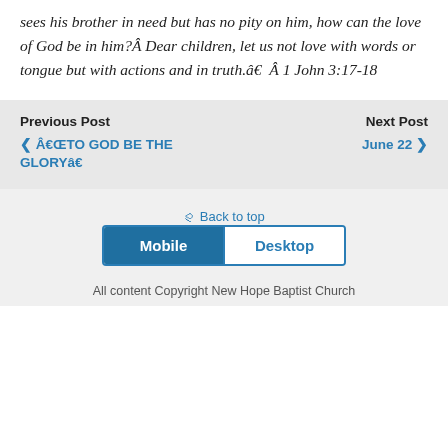sees his brother in need but has no pity on him, how can the love of God be in him?Â  Dear children, let us not love with words or tongue but with actions and in truth.â€  Â 1 John 3:17-18
Previous Post
‹ Â€ŒTO GOD BE THE GLORYâ€
Next Post
June 22 ›
⇪ Back to top
Mobile
Desktop
All content Copyright New Hope Baptist Church